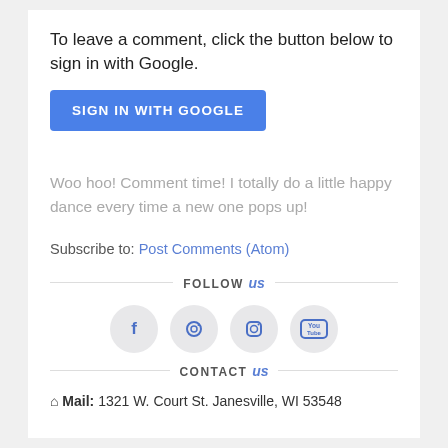To leave a comment, click the button below to sign in with Google.
[Figure (other): Blue 'SIGN IN WITH GOOGLE' button]
Woo hoo! Comment time! I totally do a little happy dance every time a new one pops up!
Subscribe to: Post Comments (Atom)
FOLLOW us
[Figure (other): Four social media icons: Facebook, Pinterest, Instagram, YouTube]
CONTACT us
Mail: 1321 W. Court St. Janesville, WI 53548